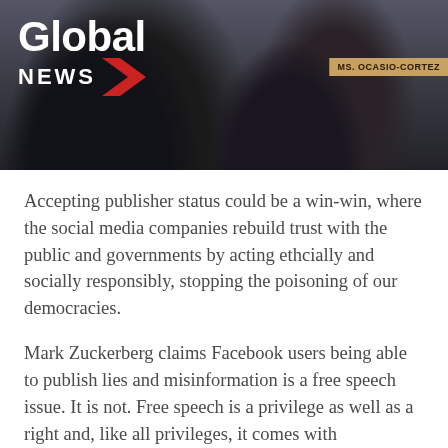[Figure (photo): Global News logo overlaid on a dark photo background showing people at what appears to be a congressional hearing. A nameplate reading 'MS. OCASIO-CORTEZ' is visible on the right side.]
Accepting publisher status could be a win-win, where the social media companies rebuild trust with the public and governments by acting ethcially and socially responsibly, stopping the poisoning of our democracies.
Mark Zuckerberg claims Facebook users being able to publish lies and misinformation is a free speech issue. It is not. Free speech is a privilege as well as a right and, like all privileges, it comes with responsibilities and limitations.
Examples of limitations are defamation laws and